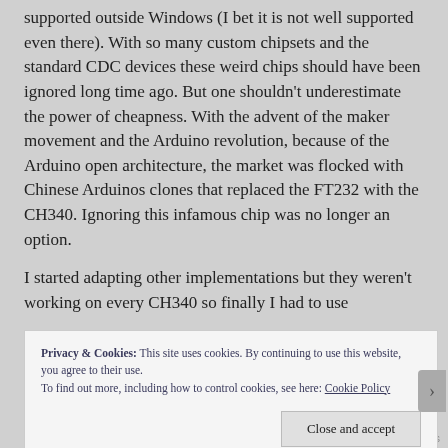supported outside Windows (I bet it is not well supported even there). With so many custom chipsets and the standard CDC devices these weird chips should have been ignored long time ago. But one shouldn't underestimate the power of cheapness. With the advent of the maker movement and the Arduino revolution, because of the Arduino open architecture, the market was flocked with Chinese Arduinos clones that replaced the FT232 with the CH340. Ignoring this infamous chip was no longer an option.
I started adapting other implementations but they weren't working on every CH340 so finally I had to use
Privacy & Cookies: This site uses cookies. By continuing to use this website, you agree to their use.
To find out more, including how to control cookies, see here: Cookie Policy
Close and accept